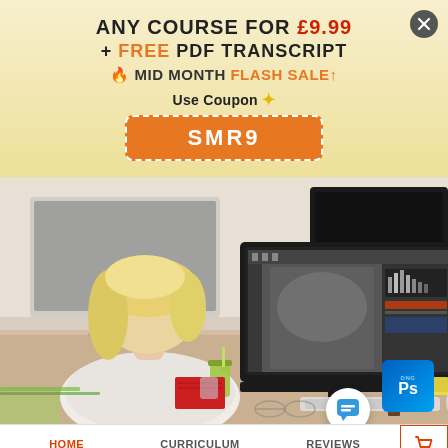ANY COURSE FOR £9.99 + FREE PDF TRANSCRIPT
🔥 MID MONTH FLASH SALE↑
Use Coupon ✦
SMR9
[Figure (photo): A blonde woman sitting at a desk using a computer with Photoshop open on the monitor, with another monitor in the background]
HOME   CURRICULUM   REVIEWS